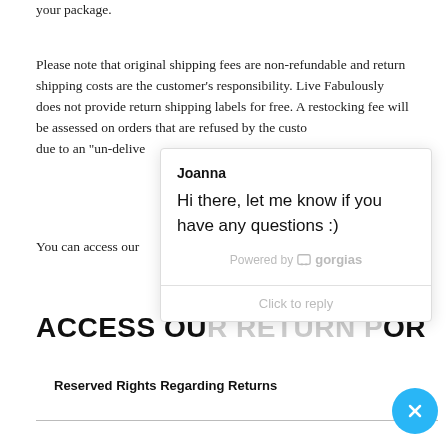your package.
Please note that original shipping fees are non-refundable and return shipping costs are the customer's responsibility. Live Fabulously does not provide return shipping labels for free. A restocking fee will be assessed on orders that are refused by the custo… due to an "un-delive…
You can access our…
[Figure (screenshot): Chat popup overlay with agent name 'Joanna' and message 'Hi there, let me know if you have any questions :)'. Powered by Gorgias. Click to reply input at bottom.]
ACCESS OU… RETURN P… OR…
Reserved Rights Regarding Returns